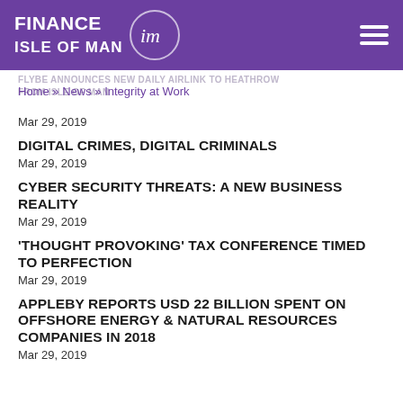Finance Isle of Man
FLYBE ANNOUNCES NEW DAILY AIRLINK TO HEATHROW FROM ISLE OF MAN
Home » News » Integrity at Work
Mar 29, 2019
DIGITAL CRIMES, DIGITAL CRIMINALS
Mar 29, 2019
CYBER SECURITY THREATS: A NEW BUSINESS REALITY
Mar 29, 2019
'THOUGHT PROVOKING' TAX CONFERENCE TIMED TO PERFECTION
Mar 29, 2019
APPLEBY REPORTS USD 22 BILLION SPENT ON OFFSHORE ENERGY & NATURAL RESOURCES COMPANIES IN 2018
Mar 29, 2019